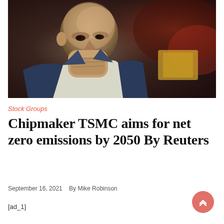[Figure (photo): A bald man in a suit resting his fist against his chin in a contemplative pose, photographed in what appears to be a trading floor environment with blurred background]
Stock Groups
Chipmaker TSMC aims for net zero emissions by 2050 By Reuters
September 16, 2021   By Mike Robinson
[ad_1]